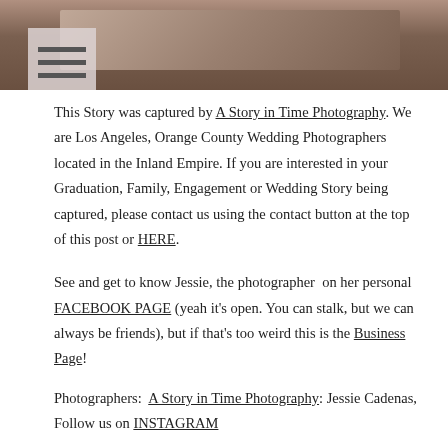[Figure (photo): Top strip showing a blurred outdoor photo (likely feet/ground detail), with a hamburger menu icon overlay in the upper left]
This Story was captured by A Story in Time Photography. We are Los Angeles, Orange County Wedding Photographers located in the Inland Empire. If you are interested in your Graduation, Family, Engagement or Wedding Story being captured, please contact us using the contact button at the top of this post or HERE.
See and get to know Jessie, the photographer on her personal FACEBOOK PAGE (yeah it’s open. You can stalk, but we can always be friends), but if that’s too weird this is the Business Page!
Photographers:  A Story in Time Photography: Jessie Cadenas, Follow us on INSTAGRAM